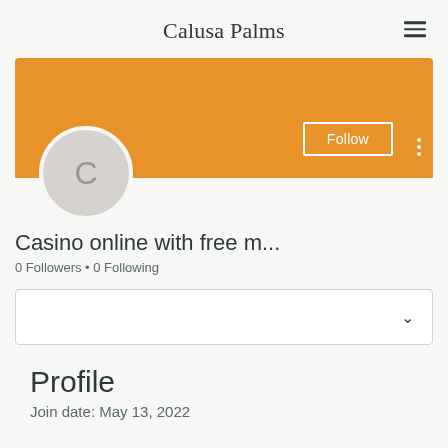Calusa Palms
[Figure (screenshot): Orange profile banner with Follow button and three-dot menu, and a circular avatar with letter C]
Casino online with free m...
0 Followers • 0 Following
[Figure (other): Dropdown selector box with chevron]
Profile
Join date: May 13, 2022